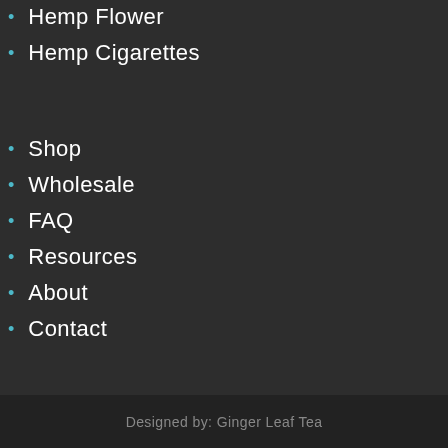Hemp Flower
Hemp Cigarettes
Shop
Wholesale
FAQ
Resources
About
Contact
Designed by: Ginger Leaf Tea